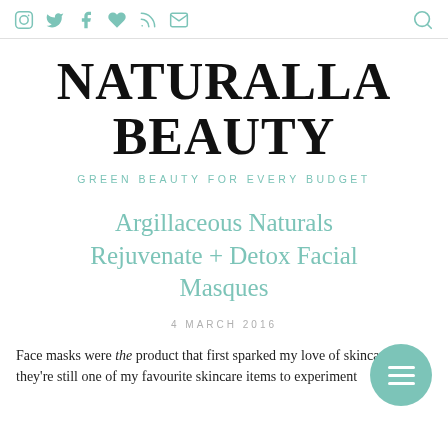Social icons (Instagram, Twitter, Facebook, Heart/Bloglovin, RSS, Email) and Search icon
NATURALLA BEAUTY
GREEN BEAUTY FOR EVERY BUDGET
Argillaceous Naturals Rejuvenate + Detox Facial Masques
4 MARCH 2016
Face masks were the product that first sparked my love of skincare and they're still one of my favourite skincare items to experiment